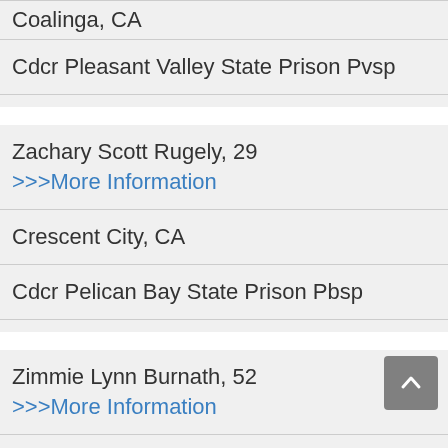Coalinga, CA
Cdcr Pleasant Valley State Prison Pvsp
Zachary Scott Rugely, 29
>>>More Information
Crescent City, CA
Cdcr Pelican Bay State Prison Pbsp
Zimmie Lynn Burnath, 52
>>>More Information
Milpitas, CA
Elmwood Ca Women S Facility